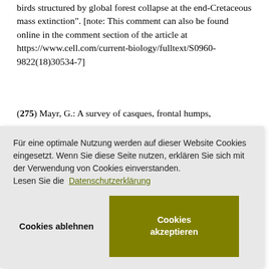birds structured by global forest collapse at the end-Cretaceous mass extinction". [note: This comment can also be found online in the comment section of the article at https://www.cell.com/current-biology/fulltext/S0960-9822(18)30534-7]
(275) Mayr, G.: A survey of casques, frontal humps, …ces
[Figure (screenshot): Cookie consent overlay dialog in German. Text: 'Für eine optimale Nutzung werden auf dieser Website Cookies eingesetzt. Wenn Sie diese Seite nutzen, erklären Sie sich mit der Verwendung von Cookies einverstanden. Lesen Sie die Datenschutzerklärung'. Two buttons: 'Cookies ablehnen' (reject) and 'Cookies akzeptieren' (accept, in olive/dark yellow green).]
Miocene of Argentina: Contribuciones del Muse…